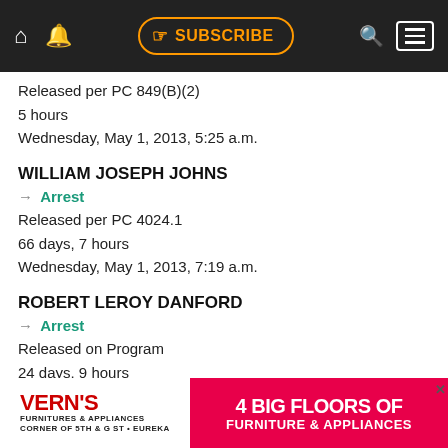SUBSCRIBE
Released per PC 849(B)(2)
5 hours
Wednesday, May 1, 2013, 5:25 a.m.
WILLIAM JOSEPH JOHNS
→ Arrest
Released per PC 4024.1
66 days, 7 hours
Wednesday, May 1, 2013, 7:19 a.m.
ROBERT LEROY DANFORD
→ Arrest
Released on Program
24 days, 9 hours
Wednesday, May 1, 2013, 8:48 a.m.
LANCE LOREN ADAMS
→ Arrest
[Figure (infographic): Advertisement banner for Vern's Furnitures & Appliances: '4 BIG FLOORS OF FURNITURE & APPLIANCES', Corner of 5th & G St • Eureka]